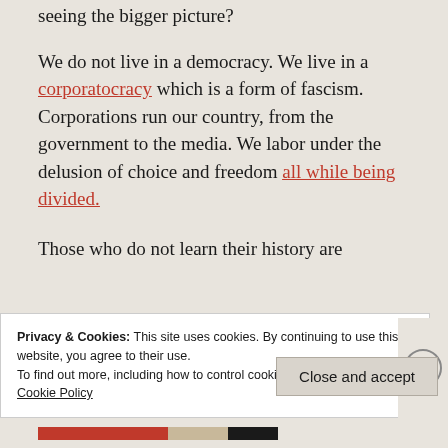speculated to think instead of stepping back and seeing the bigger picture?
We do not live in a democracy. We live in a corporatocracy which is a form of fascism. Corporations run our country, from the government to the media. We labor under the delusion of choice and freedom all while being divided.
Those who do not learn their history are
Privacy & Cookies: This site uses cookies. By continuing to use this website, you agree to their use.
To find out more, including how to control cookies, see here:
Cookie Policy
Close and accept